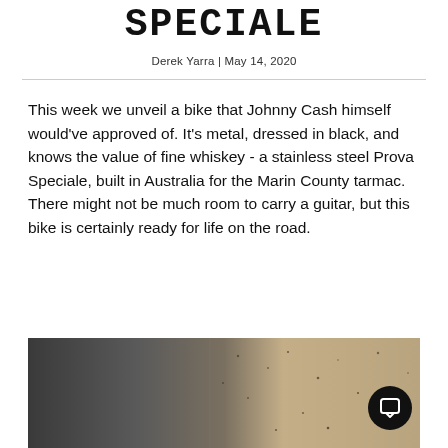SPECIALE
Derek Yarra | May 14, 2020
This week we unveil a bike that Johnny Cash himself would've approved of. It's metal, dressed in black, and knows the value of fine whiskey - a stainless steel Prova Speciale, built in Australia for the Marin County tarmac. There might not be much room to carry a guitar, but this bike is certainly ready for life on the road.
[Figure (photo): Photograph of a textured surface, dark grey/stone on the left and sandy/beige on the right, with scattered dark speckles. A dark circular chat button with a speech bubble icon appears in the bottom right.]